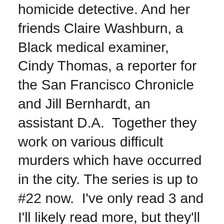homicide detective. And her friends Claire Washburn, a Black medical examiner, Cindy Thomas, a reporter for the San Francisco Chronicle and Jill Bernhardt, an assistant D.A.  Together they work on various difficult murders which have occurred in the city. The series is up to #22 now.  I've only read 3 and I'll likely read more, but they'll be carefully spaced.
This first case concerns a couple who were terrorized and slaughtered on their wedding night. Two more cases of the very same type happen and the chase is on.  It's a thriller